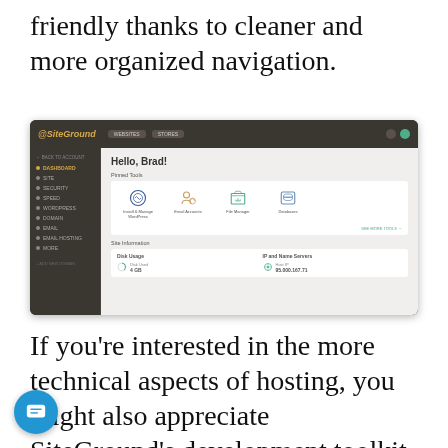friendly thanks to cleaner and more organized navigation.
[Figure (screenshot): SiteGround hosting dashboard screenshot showing Hello Brad greeting, Pinned Tools section with WordPress, Email Accounts, File Manager, and Databases icons, and Site Information section with Disk Usage and IP and Name Servers.]
If you’re interested in the more technical aspects of hosting, you might also appreciate SiteGround’s development toolkit. Other agency-centric benefits